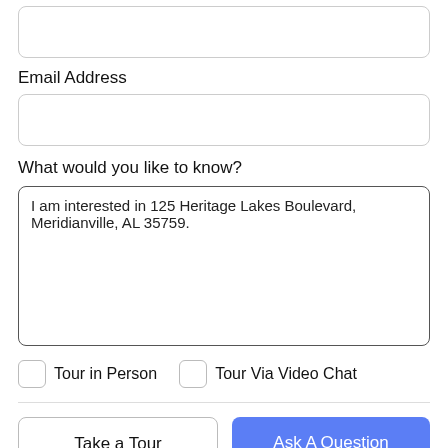[Figure (other): Empty text input field (top, partially visible)]
Email Address
[Figure (other): Empty text input field for email address]
What would you like to know?
[Figure (other): Textarea with text: I am interested in 125 Heritage Lakes Boulevard, Meridianville, AL 35759.]
Tour in Person
Tour Via Video Chat
Take a Tour
Ask A Question